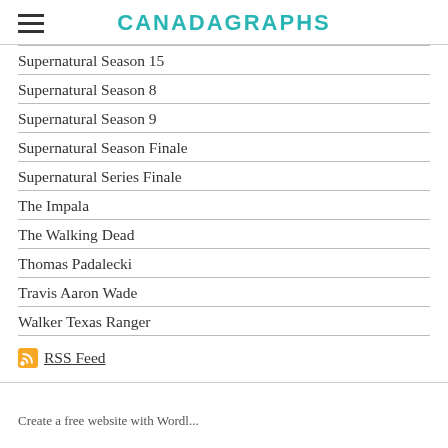CANADAGRAPHS
Supernatural Season 15
Supernatural Season 8
Supernatural Season 9
Supernatural Season Finale
Supernatural Series Finale
The Impala
The Walking Dead
Thomas Padalecki
Travis Aaron Wade
Walker Texas Ranger
RSS Feed
Create a free website with Wordpress